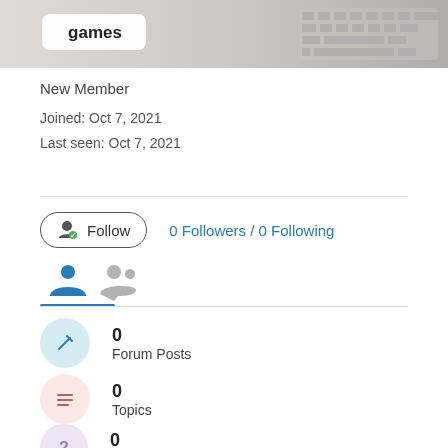[Figure (screenshot): Banner image showing keyboard in background with 'games' tag label]
New Member
Joined: Oct 7, 2021
Last seen: Oct 7, 2021
Follow  0 Followers / 0 Following
[Figure (infographic): Profile tab icons: person icon (active, blue underline) and speech bubble icon]
0
Forum Posts
0
Topics
0
Questions